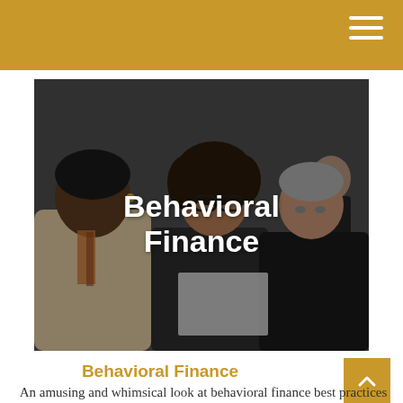[Figure (photo): Three people sitting around a table having a discussion: a Black woman in a light blazer in the foreground, a woman with curly hair and glasses in the center, and an older man with grey hair on the right. There is another person partially visible in the background.]
Behavioral Finance
Behavioral Finance
An amusing and whimsical look at behavioral finance best practices for investors.